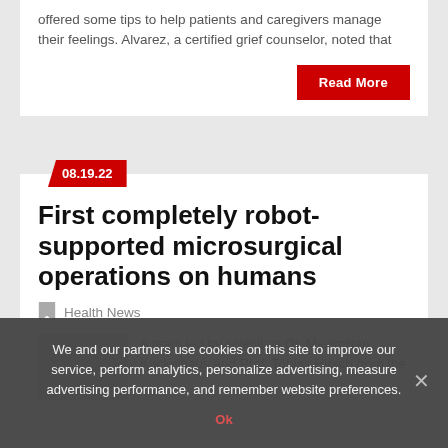offered some tips to help patients and caregivers manage their feelings. Alvarez, a certified grief counselor, noted that
Read More
08.19.22
First completely robot-supported microsurgical operations on humans
Health News
A team led by scientists Dr. Maximilian Kückelhaus and Prof. Tobias Hirsch from the
We and our partners use cookies on this site to improve our service, perform analytics, personalize advertising, measure advertising performance, and remember website preferences.
Ok